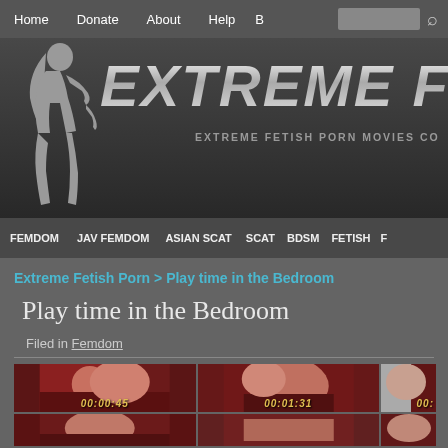Home | Donate | About | Help
[Figure (logo): Extreme Fetish Porn website banner with female silhouette and metallic text 'EXTREME FE...' and tagline 'EXTREME FETISH PORN MOVIES CO...']
FEMDOM | JAV FEMDOM | ASIAN SCAT | SCAT | BDSM | FETISH
Extreme Fetish Porn > Play time in the Bedroom
Play time in the Bedroom
Filed in Femdom
[Figure (screenshot): Video thumbnail grid showing adult content stills with timestamps 00:00:45, 00:01:31, and a partially visible third]